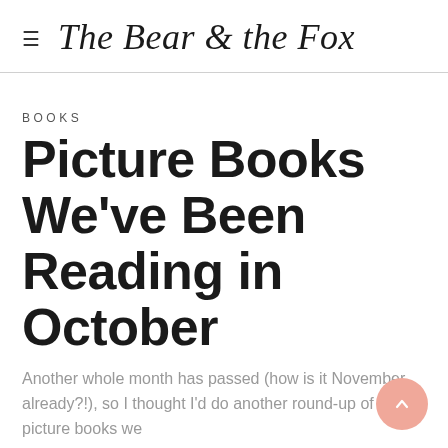The Bear & the Fox
BOOKS
Picture Books We've Been Reading in October
Another whole month has passed (how is it November already?!), so I thought I'd do another round-up of the picture books we